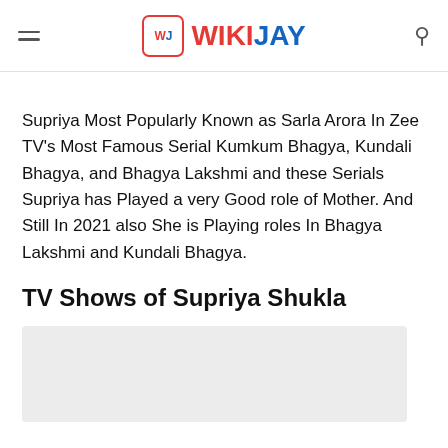WIKIJAY
Supriya Most Popularly Known as Sarla Arora In Zee TV's Most Famous Serial Kumkum Bhagya, Kundali Bhagya, and Bhagya Lakshmi and these Serials Supriya has Played a very Good role of Mother. And Still In 2021 also She is Playing roles In Bhagya Lakshmi and Kundali Bhagya.
TV Shows of Supriya Shukla
[Figure (other): Gray placeholder box for TV Shows content]